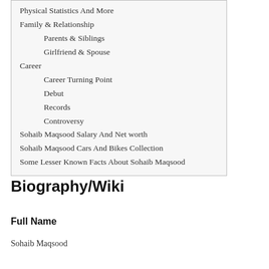Physical Statistics And More
Family & Relationship
Parents & Siblings
Girlfriend & Spouse
Career
Career Turning Point
Debut
Records
Controversy
Sohaib Maqsood Salary And Net worth
Sohaib Maqsood Cars And Bikes Collection
Some Lesser Known Facts About Sohaib Maqsood
Biography/Wiki
Full Name
Sohaib Maqsood